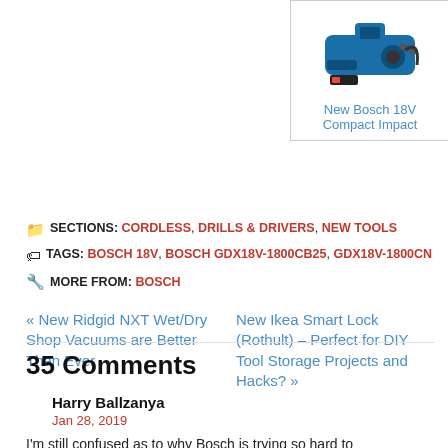[Figure (photo): Blue Bosch 18V Compact Impact tool product photo]
New Bosch 18V Compact Impact
SECTIONS: CORDLESS, DRILLS & DRIVERS, NEW TOOLS
TAGS: BOSCH 18V, BOSCH GDX18V-1800CB25, GDX18V-1800CN
MORE FROM: BOSCH
« New Ridgid NXT Wet/Dry Shop Vacuums are Better Than Ever
New Ikea Smart Lock (Rothult) – Perfect for DIY Tool Storage Projects and Hacks? »
35 Comments
Harry Ballzanya
Jan 28, 2019
I'm still confused as to why Bosch is trying so hard to